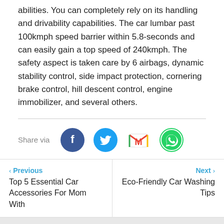abilities. You can completely rely on its handling and drivability capabilities. The car lumbar past 100kmph speed barrier within 5.8-seconds and can easily gain a top speed of 240kmph. The safety aspect is taken care by 6 airbags, dynamic stability control, side impact protection, cornering brake control, hill descent control, engine immobilizer, and several others.
[Figure (infographic): Share via row with Facebook, Twitter, Gmail, and WhatsApp icons]
< Previous
Top 5 Essential Car Accessories For Mom With
Next >
Eco-Friendly Car Washing Tips